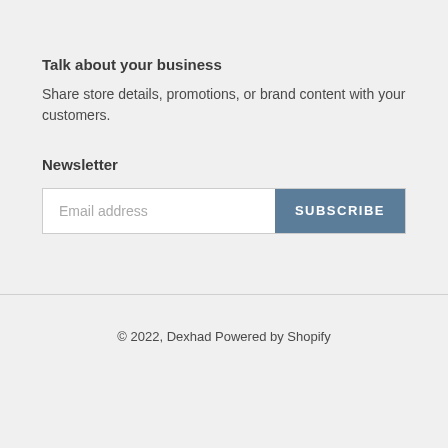Talk about your business
Share store details, promotions, or brand content with your customers.
Newsletter
Email address [input field] SUBSCRIBE [button]
© 2022, Dexhad Powered by Shopify